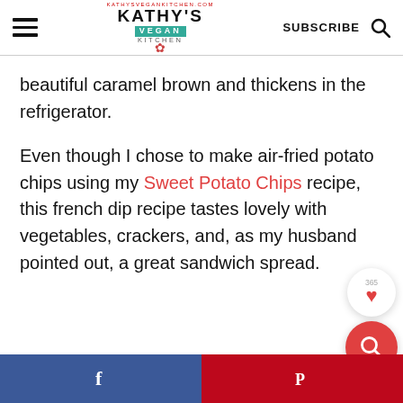Kathy's Vegan Kitchen — SUBSCRIBE
beautiful caramel brown and thickens in the refrigerator.
Even though I chose to make air-fried potato chips using my Sweet Potato Chips recipe, this french dip recipe tastes lovely with vegetables, crackers, and, as my husband pointed out, a great sandwich spread.
Facebook share | Pinterest share